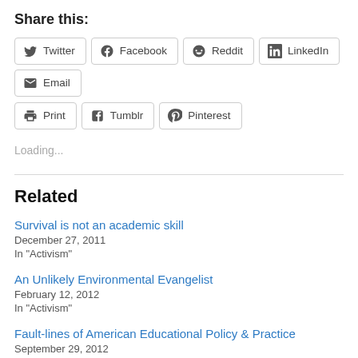Share this:
Twitter
Facebook
Reddit
LinkedIn
Email
Print
Tumblr
Pinterest
Loading...
Related
Survival is not an academic skill
December 27, 2011
In "Activism"
An Unlikely Environmental Evangelist
February 12, 2012
In "Activism"
Fault-lines of American Educational Policy & Practice
September 29, 2012